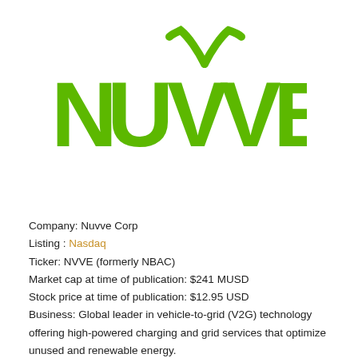[Figure (logo): Nuvve company logo in green, featuring stylized letters N U V V E with a checkmark/lightning bolt graphic above the VV]
Company: Nuvve Corp
Listing : Nasdaq
Ticker: NVVE (formerly NBAC)
Market cap at time of publication: $241 MUSD
Stock price at time of publication: $12.95 USD
Business: Global leader in vehicle-to-grid (V2G) technology offering high-powered charging and grid services that optimize unused and renewable energy.